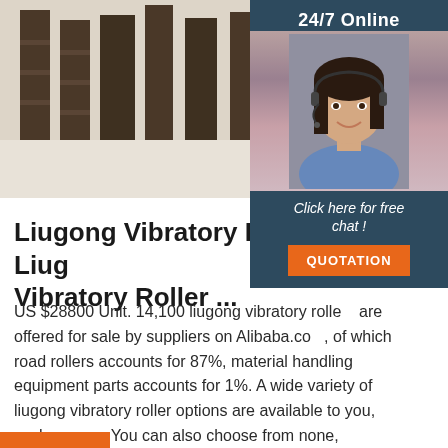[Figure (photo): Hero image showing display shelving units/racks on a light floor, partially visible. A 24/7 online customer service sidebar panel overlaps the right side with a female agent wearing a headset, a 'Click here for free chat!' message, and an orange QUOTATION button.]
Liugong Vibratory Roller, Liugong Vibratory Roller ...
US $28800 Unit. 14,100 liugong vibratory roller products are offered for sale by suppliers on Alibaba.com, of which road rollers accounts for 87%, material handling equipment parts accounts for 1%. A wide variety of liugong vibratory roller options are available to you, such as new. You can also choose from none, canada, and philippines ...